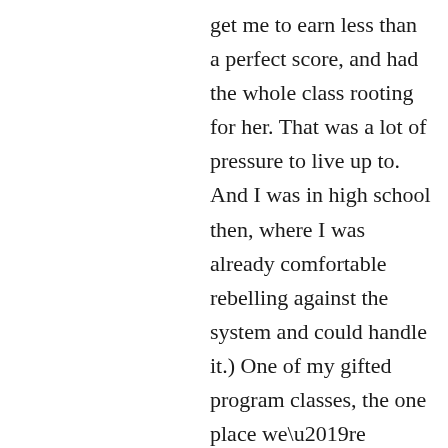get me to earn less than a perfect score, and had the whole class rooting for her. That was a lot of pressure to live up to. And I was in high school then, where I was already comfortable rebelling against the system and could handle it.) One of my gifted program classes, the one place we’re supposed to feel ‘safe’ in our giftedness, did a spectacular job of making me